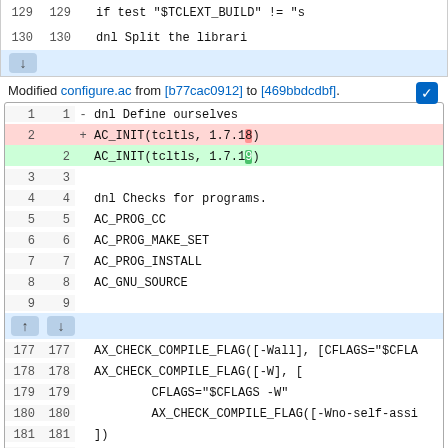[Figure (screenshot): Top portion of a code diff showing lines 129-130 with truncation arrow. Line 129: if test "$TCLEXT_BUILD" != "s, Line 130: dnl Split the librari]
Modified configure.ac from [b77cac0912] to [469bbdcdbf].
[Figure (screenshot): Code diff block for configure.ac. Lines 1-9 shown. Line 2 deleted: AC_INIT(tcltls, 1.7.18), Line 2 added: AC_INIT(tcltls, 1.7.19). Lines 3-9 unchanged. Then lines 177-186 shown with additions for tcltls_enable_hardening.]